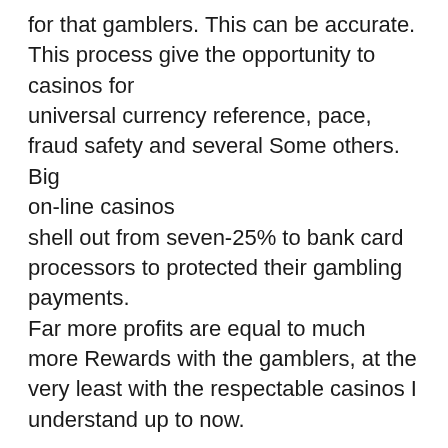for that gamblers. This can be accurate. This process give the opportunity to casinos for universal currency reference, pace, fraud safety and several Some others. Big on-line casinos shell out from seven-25% to bank card processors to protected their gambling payments. Far more profits are equal to much more Rewards with the gamblers, at the very least with the respectable casinos I understand up to now.
The Lies
All On the net Casinos are truthful and sincere. Lie. It's essential to be added watchful with on the internet casinos that use only electronic